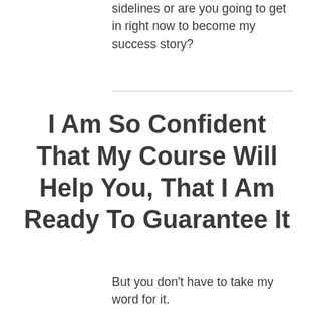sidelines or are you going to get in right now to become my success story?
I Am So Confident That My Course Will Help You, That I Am Ready To Guarantee It
But you don't have to take my word for it.